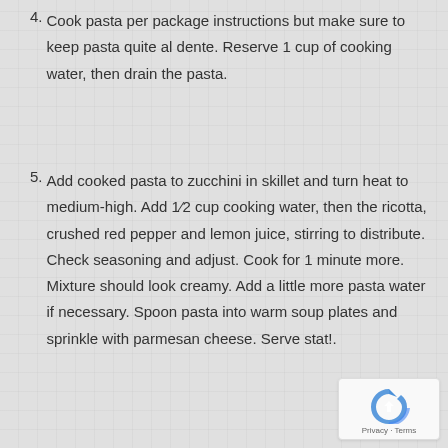4. Cook pasta per package instructions but make sure to keep pasta quite al dente. Reserve 1 cup of cooking water, then drain the pasta.
5. Add cooked pasta to zucchini in skillet and turn heat to medium-high. Add 1/2 cup cooking water, then the ricotta, crushed red pepper and lemon juice, stirring to distribute. Check seasoning and adjust. Cook for 1 minute more. Mixture should look creamy. Add a little more pasta water if necessary. Spoon pasta into warm soup plates and sprinkle with parmesan cheese. Serve stat!.
[Figure (logo): Google reCAPTCHA badge with Privacy and Terms text]